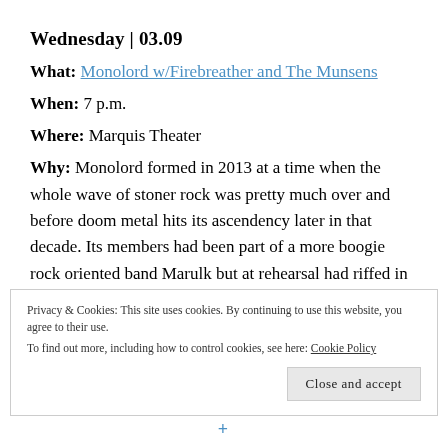Wednesday | 03.09
What: Monolord w/Firebreather and The Munsens
When: 7 p.m.
Where: Marquis Theater
Why: Monolord formed in 2013 at a time when the whole wave of stoner rock was pretty much over and before doom metal hits its ascendency later in that decade. Its members had been part of a more boogie rock oriented band Marulk but at rehearsal had riffed in more drawn out dynamics and sustained atmospherics while incorporating those impulses into coherent
Privacy & Cookies: This site uses cookies. By continuing to use this website, you agree to their use. To find out more, including how to control cookies, see here: Cookie Policy
Close and accept